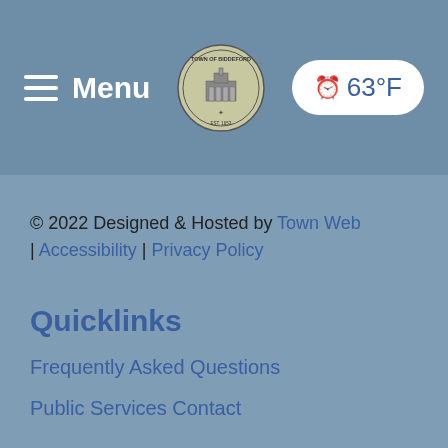Menu | [Town Seal] | 63°F
© 2022 Designed & Hosted by Town Web | Accessibility | Privacy Policy
Quicklinks
Frequently Asked Questions
Public Services Contact